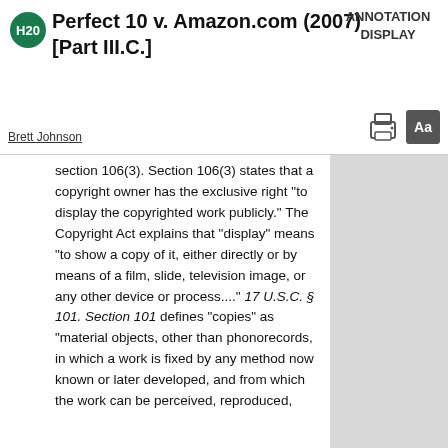Perfect 10 v. Amazon.com (2007) [Part III.C.]
ANNOTATION DISPLAY
Brett Johnson
section 106(3). Section 106(3) states that a copyright owner has the exclusive right "to display the copyrighted work publicly." The Copyright Act explains that "display" means "to show a copy of it, either directly or by means of a film, slide, television image, or any other device or process...." 17 U.S.C. § 101. Section 101 defines "copies" as "material objects, other than phonorecords, in which a work is fixed by any method now known or later developed, and from which the work can be perceived, reproduced, or otherwise communicated, with